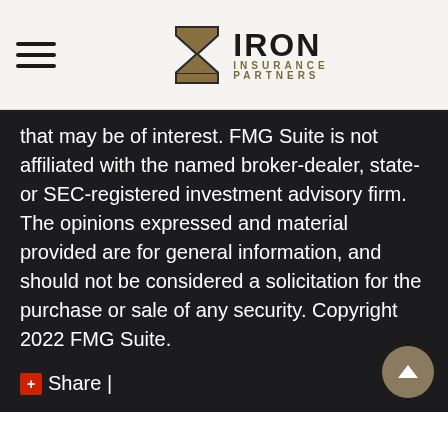[Figure (logo): Iron Insurance Partners logo with hourglass icon and text]
that may be of interest. FMG Suite is not affiliated with the named broker-dealer, state- or SEC-registered investment advisory firm. The opinions expressed and material provided are for general information, and should not be considered a solicitation for the purchase or sale of any security. Copyright 2022 FMG Suite.
Share |
Have A Question About This Topic?
Name